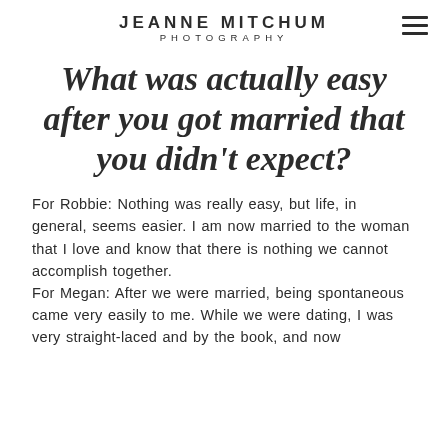JEANNE MITCHUM PHOTOGRAPHY
What was actually easy after you got married that you didn't expect?
For Robbie: Nothing was really easy, but life, in general, seems easier. I am now married to the woman that I love and know that there is nothing we cannot accomplish together.
For Megan: After we were married, being spontaneous came very easily to me. While we were dating, I was very straight-laced and by the book, and now